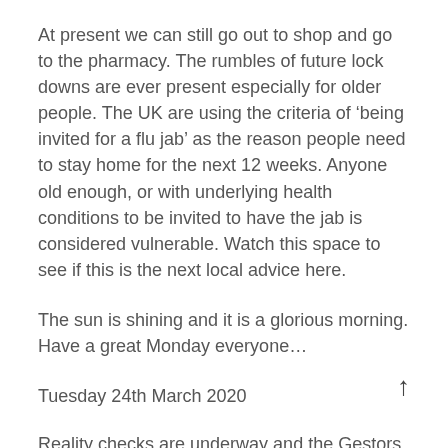At present we can still go out to shop and go to the pharmacy. The rumbles of future lock downs are ever present especially for older people. The UK are using the criteria of ‘being invited for a flu jab’ as the reason people need to stay home for the next 12 weeks. Anyone old enough, or with underlying health conditions to be invited to have the jab is considered vulnerable. Watch this space to see if this is the next local advice here.
The sun is shining and it is a glorious morning. Have a great Monday everyone…
Tuesday 24th March 2020
Reality checks are underway and the Gestors of the Valley were busy yesterday. A lot of talk going on